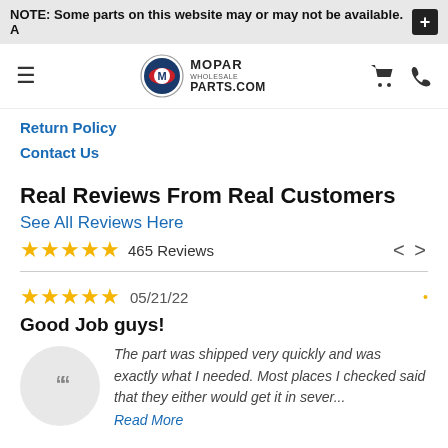NOTE: Some parts on this website may or may not be available. A
[Figure (logo): Mopar Wholesale Parts.com logo with circular M emblem]
Return Policy
Contact Us
Real Reviews From Real Customers
See All Reviews Here
★★★★★ 465 Reviews
★★★★★ 05/21/22
Good Job guys!
The part was shipped very quickly and was exactly what I needed. Most places I checked said that they either would get it in sever...
Read More